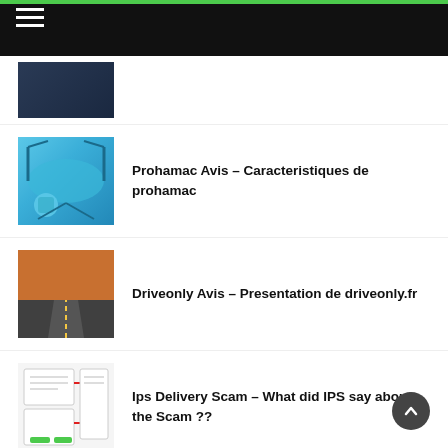Navigation header with hamburger menu
[Figure (photo): Partial body photo in swimwear, dark blue]
[Figure (photo): Blue aerial hammock yoga swing product with accessories]
Prohamac Avis – Caracteristiques de prohamac
[Figure (photo): Desert road stretching into the distance under orange sky]
Driveonly Avis – Presentation de driveonly.fr
[Figure (screenshot): IPS delivery scam document/form screenshot with red arrows]
Ips Delivery Scam – What did IPS say about the Scam ??
[Figure (photo): Dark/black image thumbnail for Junkum article]
Is Junkum Legit – Regarding Is Junkum